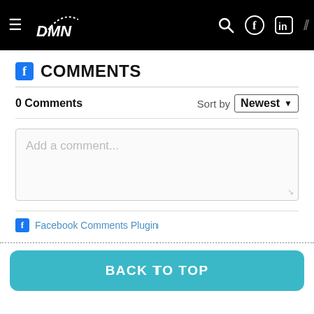DMN header navigation with logo, search, Facebook, LinkedIn icons
COMMENTS
0 Comments    Sort by Newest
[Figure (other): Text input box with placeholder 'Add a comment...']
Facebook Comments Plugin
BACK TO TOP